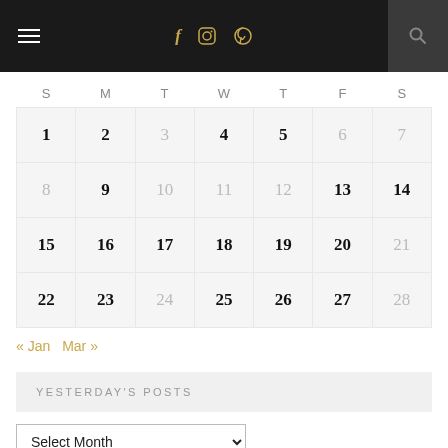[Figure (screenshot): Navigation bar with hamburger menu, social icons (f, Instagram, Pinterest), and search icon]
| S | M | T | W | T | F | S |
| --- | --- | --- | --- | --- | --- | --- |
| 1 | 2 | 3 | 4 | 5 | 6 | 7 |
| 8 | 9 | 10 | 11 | 12 | 13 | 14 |
| 15 | 16 | 17 | 18 | 19 | 20 | 21 |
| 22 | 23 | 24 | 25 | 26 | 27 | 28 |
« Jan    Mar »
YESTERDAY'S POSTS
Select Month
SEARCH, PONDER, AND PRAY